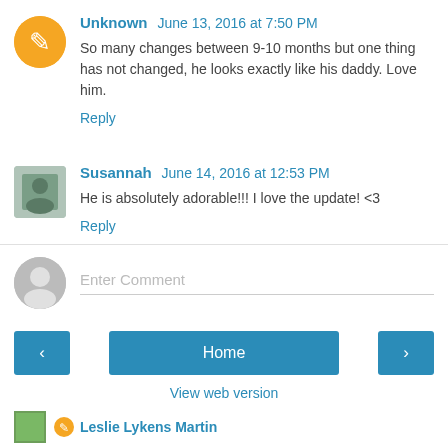Unknown  June 13, 2016 at 7:50 PM
So many changes between 9-10 months but one thing has not changed, he looks exactly like his daddy. Love him.
Reply
Susannah  June 14, 2016 at 12:53 PM
He is absolutely adorable!!! I love the update! <3
Reply
Enter Comment
Home
View web version
Leslie Lykens Martin